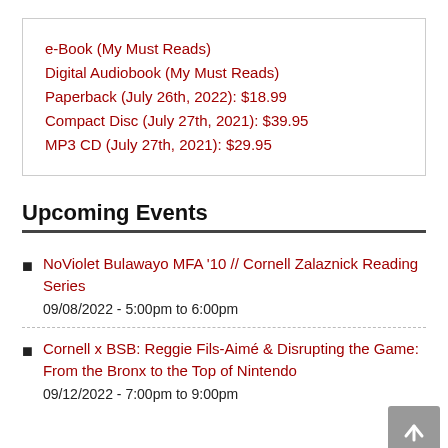e-Book (My Must Reads)
Digital Audiobook (My Must Reads)
Paperback (July 26th, 2022): $18.99
Compact Disc (July 27th, 2021): $39.95
MP3 CD (July 27th, 2021): $29.95
Upcoming Events
NoViolet Bulawayo MFA '10 // Cornell Zalaznick Reading Series
09/08/2022 - 5:00pm to 6:00pm
Cornell x BSB: Reggie Fils-Aimé & Disrupting the Game: From the Bronx to the Top of Nintendo
09/12/2022 - 7:00pm to 9:00pm